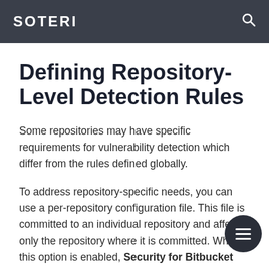SOTERI
Defining Repository-Level Detection Rules
Some repositories may have specific requirements for vulnerability detection which differ from the rules defined globally.
To address repository-specific needs, you can use a per-repository configuration file. This file is committed to an individual repository and affects only the repository where it is committed. When this option is enabled, Security for Bitbucket looks for a file named soteri-security.yml in the root directory of the